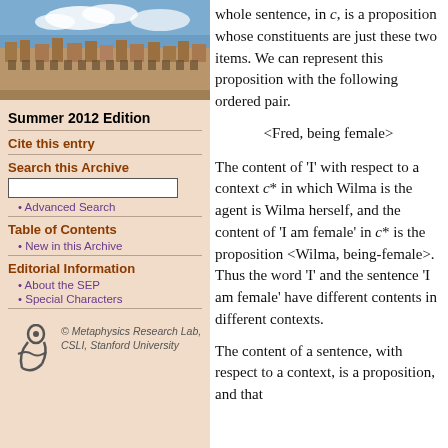[Figure (photo): Aerial/exterior photo of a university building (sandstone architecture) with blue sky and clouds — Stanford/collegiate gothic style]
Summer 2012 Edition
Cite this entry
Search this Archive
• Advanced Search
Table of Contents
• New in this Archive
Editorial Information
• About the SEP
• Special Characters
© Metaphysics Research Lab, CSLI, Stanford University
whole sentence, in c, is a proposition whose constituents are just these two items. We can represent this proposition with the following ordered pair.
<Fred, being female>
The content of 'I' with respect to a context c* in which Wilma is the agent is Wilma herself, and the content of 'I am female' in c* is the proposition <Wilma, being-female>. Thus the word 'I' and the sentence 'I am female' have different contents in different contexts.
The content of a sentence, with respect to a context, is a proposition, and that